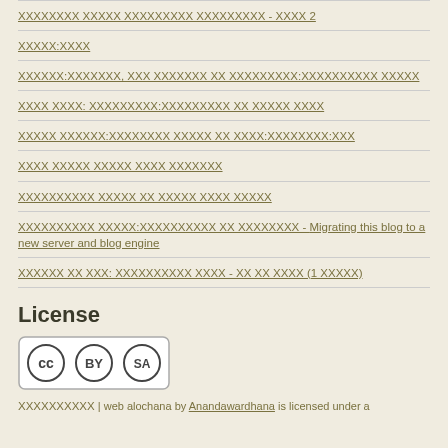xxxxxxxx xxxxx xxxxxxxxx xxxxxxxxx - xxxx 2
xxxxx:xxxx
xxxxxx:xxxxxxx, xxx xxxxxxx xx xxxxxxxxx:xxxxxxxxxx xxxxx
xxxx xxxx: xxxxxxxxx:xxxxxxxxxx xx xxxxx xxxx
xxxxx xxxxxx:xxxxxxxx xxxxx xx xxx:xxxxxxxxx:xxx
xxxx xxxxx xxxxx xxxx xxxxxx
xxxxxxxxxx xxxxx xx xxxxx xxxx xxxxx
xxxxxxxxxx xxxxx:xxxxxxxxxx xx xxxxxxxx - Migrating this blog to a new server and blog engine
xxxxxx xx xxx: xxxxxxxxxx xxxx - xx xx xxxx (1 xxxxx)
License
[Figure (logo): Creative Commons BY SA license logo]
xxxxxxxx | web alochana by Anandawardhana is licensed under a